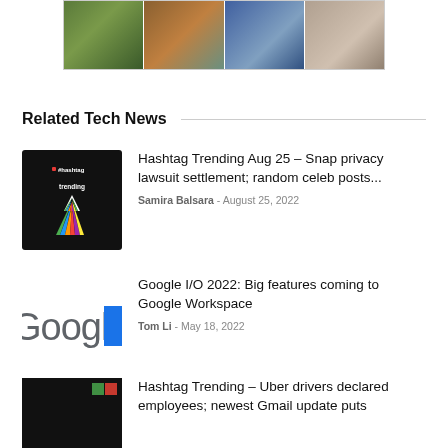[Figure (photo): Four photos in a grid strip: child outdoors, people on structure, people on boat, person sitting]
Related Tech News
[Figure (photo): Hashtag Trending logo — black background with colorful upward arrow and #hashtag trending text]
Hashtag Trending Aug 25 – Snap privacy lawsuit settlement; random celeb posts...
Samira Balsara - August 25, 2022
[Figure (logo): Google logo partial view with blue rectangle]
Google I/O 2022: Big features coming to Google Workspace
Tom Li - May 18, 2022
[Figure (photo): Hashtag Trending logo — black background, partial view showing 'ashtag' text]
Hashtag Trending – Uber drivers declared employees; newest Gmail update puts